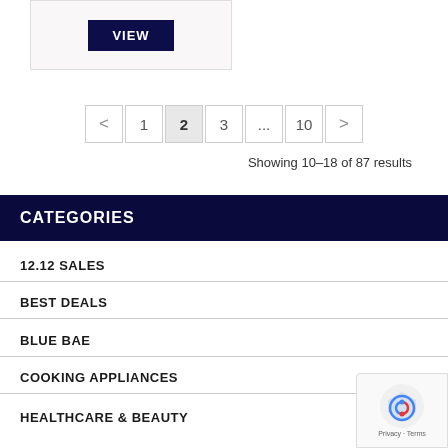[Figure (screenshot): Product card with a VIEW button on dark navy background]
< 1 2 3 ... 10 >
Showing 10–18 of 87 results
CATEGORIES
12.12 SALES
BEST DEALS
BLUE BAE
COOKING APPLIANCES
HEALTHCARE & BEAUTY